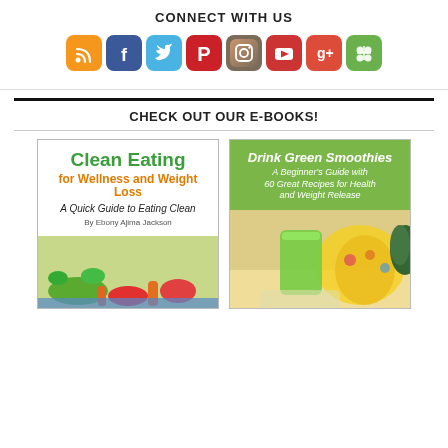CONNECT WITH US
[Figure (infographic): Row of social media icons: RSS (orange), Facebook (blue), Twitter (light blue), Pinterest (red), Instagram (brown), YouTube (red), Google+ (red), Google+ circles (green)]
CHECK OUT OUR E-BOOKS!
[Figure (photo): Book cover: Clean Eating for Wellness and Weight Loss - A Quick Guide to Eating Clean, By Ebony Ajima Jackson, with vegetables photo]
[Figure (photo): Book cover: Drink Green Smoothies - A Beginner's Guide with 60 Great Recipes for Health and Weight Release, with green smoothie photo]